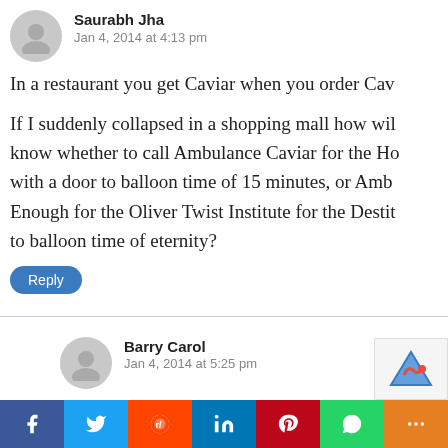Saurabh Jha
Jan 4, 2014 at 4:13 pm
In a restaurant you get Caviar when you order Cav
If I suddenly collapsed in a shopping mall how will know whether to call Ambulance Caviar for the Ho with a door to balloon time of 15 minutes, or Amb Enough for the Oliver Twist Institute for the Destit to balloon time of eternity?
Reply
Barry Carol
Jan 4, 2014 at 5:25 pm
RadsDoc64 –